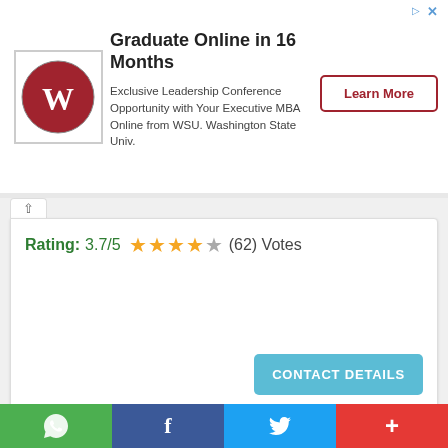[Figure (infographic): WSU advertisement banner: Graduate Online in 16 Months. Exclusive Leadership Conference Opportunity with Your Executive MBA Online from WSU. Washington State Univ. With Learn More button and WSU logo.]
Rating: 3.7/5 ★★★★☆ (62) Votes
CONTACT DETAILS
[Figure (infographic): Centric advertisement banner: Six Steps to Improve Document Management. Blue background with city skyline image and Centric logo.]
[Figure (infographic): Bottom social share bar with WhatsApp, Facebook, Twitter, and more (+) buttons.]